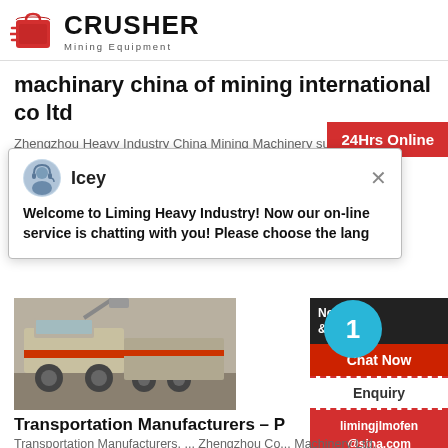CRUSHER Mining Equipment
machinary china of mining international co ltd
Zhengzhou Heavy Industry China Mining Machinery supplier, Quarry Equipment, Crushing & Screening Machi... Manufacturer / Supplier in Zhengzhou Heavy...
[Figure (screenshot): Red 24Hrs Online badge]
[Figure (screenshot): Chat popup with avatar named Icey, message: Welcome to Liming Heavy Industry! Now our on-line service is chatting with you! Please choose the lang]
[Figure (photo): Mining/crushing machinery vehicle photo]
[Figure (infographic): Right sidebar with Need & suggestions, circle badge with number 1, Chat Now button, Enquiry section, limingjlmofen@sina.com email]
Transportation Manufacturers – P
Transportation Manufacturers, ... Zhengzhou Co... Machinery Ltd. Company ... Our1ff8 company sp... agricultural machinery and construction machinery.